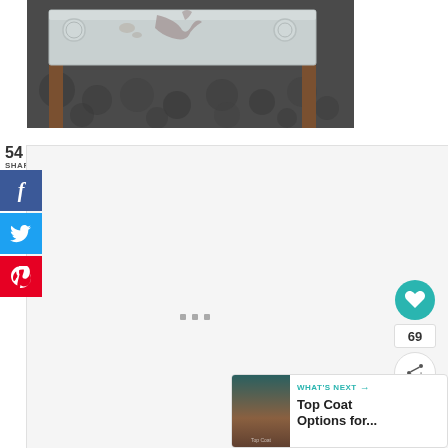[Figure (photo): A white-painted decorative table or furniture top viewed from above, with ornamental relief design, sitting on a dark patterned floor]
54
SHARES
[Figure (infographic): Social share buttons: Facebook (blue), Twitter (blue), Pinterest (red)]
[Figure (infographic): Heart/like button showing 69 likes, and a share button, floating action buttons on right side]
[Figure (infographic): Slideshow navigation dots]
[Figure (infographic): What's Next panel showing thumbnail and text: Top Coat Options for...]